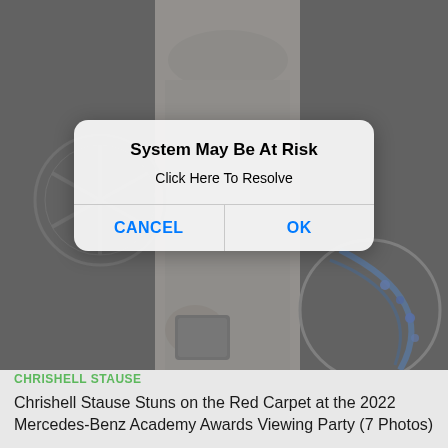[Figure (screenshot): A screenshot of a webpage showing a photo of Chrishell Stause at a red carpet event with a Mercedes-Benz backdrop. A mobile-style alert dialog overlays the photo with the title 'System May Be At Risk', body text 'Click Here To Resolve', and two buttons: CANCEL and OK in blue.]
CHRISHELL STAUSE
Chrishell Stause Stuns on the Red Carpet at the 2022 Mercedes-Benz Academy Awards Viewing Party (7 Photos)